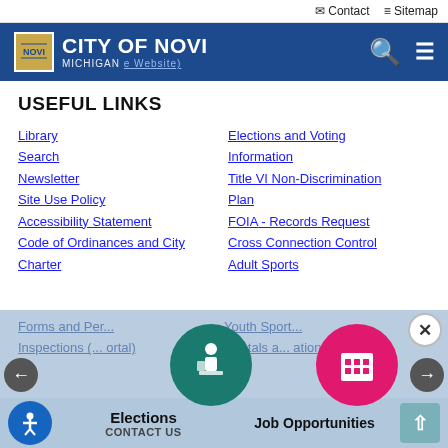Contact  Sitemap
[Figure (logo): City of Novi, Michigan municipal website logo with city seal and blue header bar]
USEFUL LINKS
Library
Elections and Voting Information
Search
Information
Newsletter
Title VI Non-Discrimination Plan
Site Use Policy
FOIA - Records Request
Accessibility Statement
Cross Connection Control
Code of Ordinances and City Charter
Adult Sports
Forms and Permits
Youth Sports
Inspections (Customer Portal)
Rentals and Reservations
[Figure (illustration): Elections circular icon button - teal/green circle with figure at voting booth]
[Figure (illustration): Job Opportunities circular icon button - pink/magenta circle with building icon]
Elections
Job Opportunities
CONTACT US